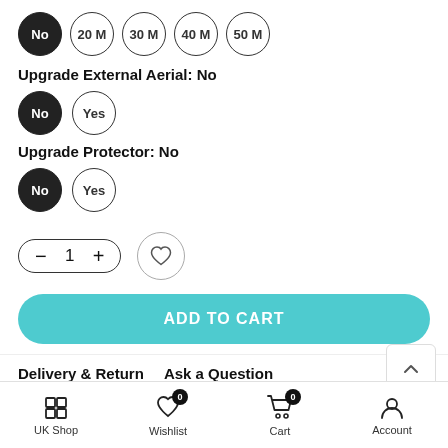No, 20 M, 30 M, 40 M, 50 M (cable length options)
Upgrade External Aerial: No
No, Yes (External Aerial options)
Upgrade Protector: No
No, Yes (Protector options)
Quantity: 1, Add to Wishlist
ADD TO CART
Delivery & Return   Ask a Question
UK Shop   Wishlist 0   Cart 0   Account